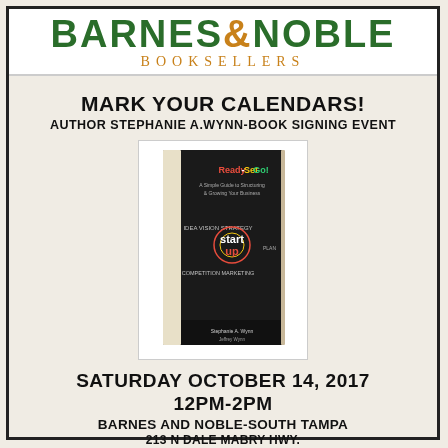[Figure (logo): Barnes & Noble Booksellers logo with green text and gold ampersand]
MARK YOUR CALENDARS!
AUTHOR STEPHANIE A.WYNN-BOOK SIGNING EVENT
[Figure (photo): Book cover of Ready-Set-Go by Stephanie A. Wynn, dark chalkboard style cover with startup business terms]
SATURDAY OCTOBER 14, 2017
12PM-2PM
BARNES AND NOBLE-SOUTH TAMPA
213 N DALE MABRY HWY.
TAMPA, FL 33609